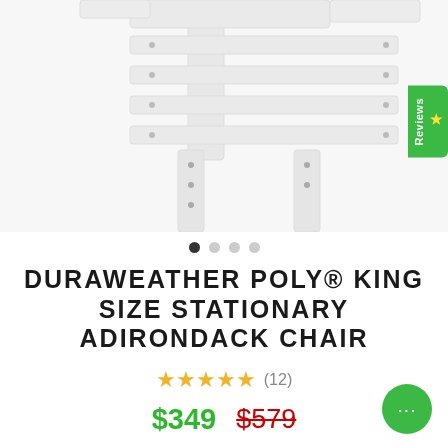[Figure (photo): Bottom portion of a white Adirondack chair showing legs and horizontal slats with visible screw holes, white background]
DURAWEATHER POLY® KING SIZE STATIONARY ADIRONDACK CHAIR
★★★★★ (12)
$349   $579